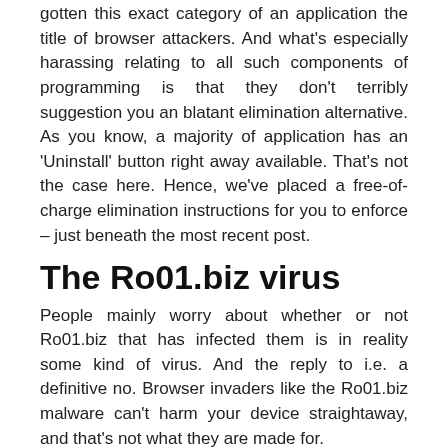gotten this exact category of an application the title of browser attackers. And what's especially harassing relating to all such components of programming is that they don't terribly suggestion you an blatant elimination alternative. As you know, a majority of application has an 'Uninstall' button right away available. That's not the case here. Hence, we've placed a free-of-charge elimination instructions for you to enforce – just beneath the most recent post.
The Ro01.biz virus
People mainly worry about whether or not Ro01.biz that has infected them is in reality some kind of virus. And the reply to i.e. a definitive no. Browser invaders like the Ro01.biz malware can't harm your device straightaway, and that's not what they are made for.
All programs like this intends is to subject you to varied ads, so that by tapping on them you could make revenue